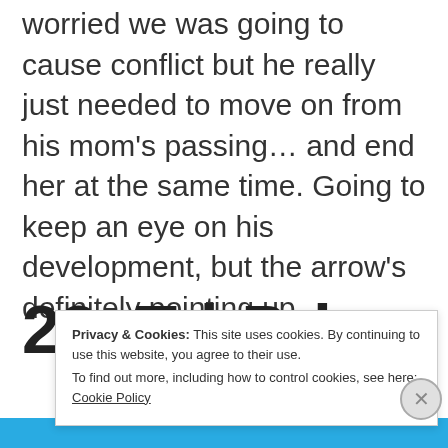worried we was going to cause conflict but he really just needed to move on from his mom's passing… and end her at the same time. Going to keep an eye on his development, but the arrow's definitely pointing up.
22. Tri-Dri...
Privacy & Cookies: This site uses cookies. By continuing to use this website, you agree to their use. To find out more, including how to control cookies, see here: Cookie Policy
Close and accept